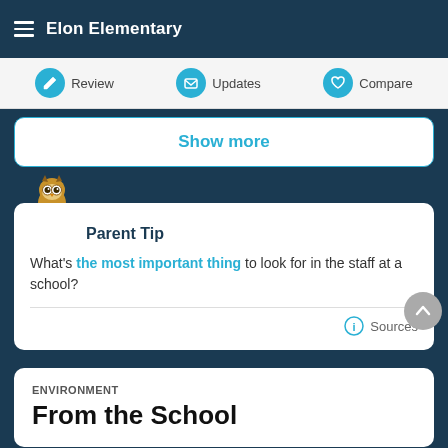Elon Elementary
Review   Updates   Compare
Show more
Parent Tip
What's the most important thing to look for in the staff at a school?
Sources
ENVIRONMENT
From the School